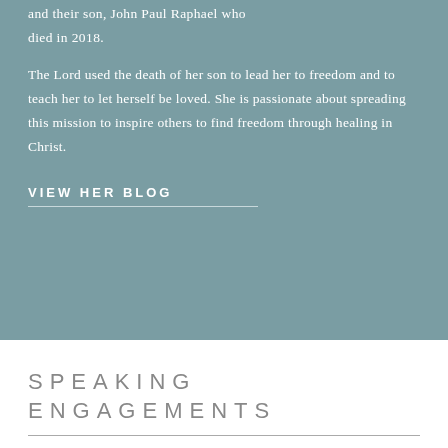and their son, John Paul Raphael who died in 2018.
The Lord used the death of her son to lead her to freedom and to teach her to let herself be loved. She is passionate about spreading this mission to inspire others to find freedom through healing in Christ.
VIEW HER BLOG
SPEAKING ENGAGEMENTS
I am available to speak at your